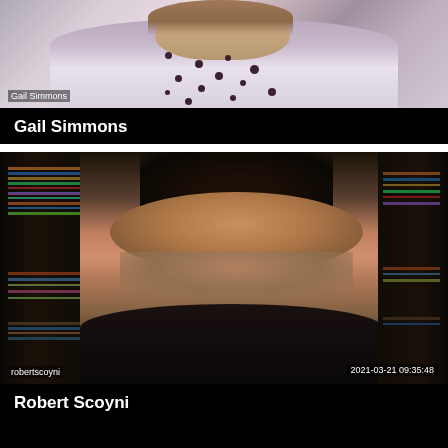[Figure (screenshot): Video call screenshot of Gail Simmons. A woman wearing a white blouse with dark spots/pattern is visible. Her name 'Gail Simmons' appears as an overlay label in the bottom-left of the video frame.]
Gail Simmons
[Figure (screenshot): Video call screenshot of Robert Scoyni. A man with dark hair is shown looking downward, seated in front of bookshelves. His username 'robertscoyni' appears in the bottom-left and a timestamp '2021-03-21 09:35:48' appears in the bottom-right of the video frame.]
Robert Scoyni